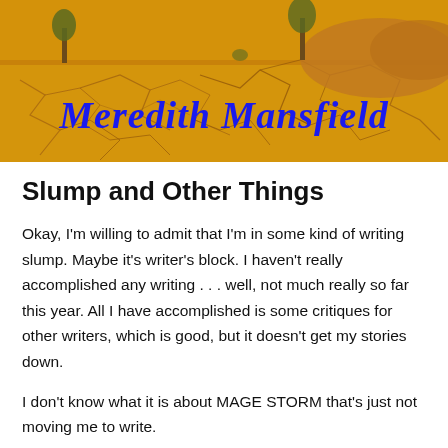[Figure (photo): Banner image showing a desert landscape with cracked dry earth in golden/orange tones, sparse trees in the background, with the text 'Meredith Mansfield' overlaid in large blue italic serif font]
Slump and Other Things
Okay, I'm willing to admit that I'm in some kind of writing slump. Maybe it's writer's block. I haven't really accomplished any writing . . . well, not much really so far this year. All I have accomplished is some critiques for other writers, which is good, but it doesn't get my stories down.
I don't know what it is about MAGE STORM that's just not moving me to write.